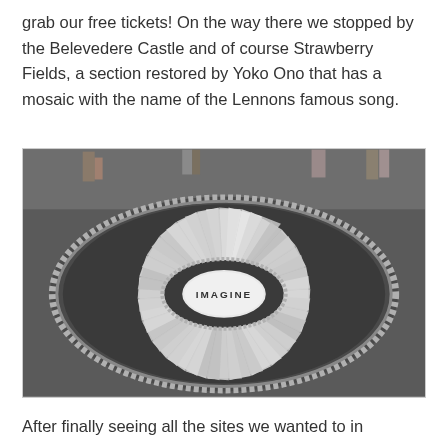grab our free tickets! On the way there we stopped by the Belevedere Castle and of course Strawberry Fields, a section restored by Yoko Ono that has a mosaic with the name of the Lennons famous song.
[Figure (photo): Photograph of the Strawberry Fields 'IMAGINE' mosaic in Central Park, New York. A circular black and white mosaic on the ground with the word IMAGINE in the center, surrounded by radiating geometric patterns. People's feet and legs are visible in the background.]
After finally seeing all the sites we wanted to in